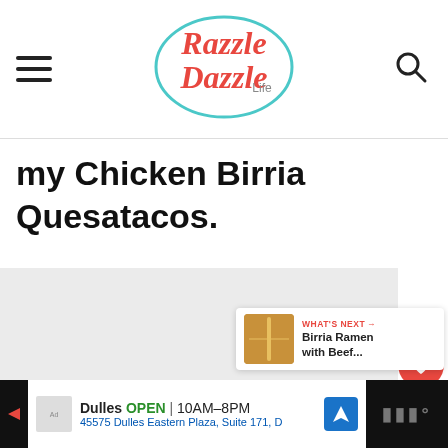Razzle Dazzle Life
my Chicken Birria Quesatacos.
[Figure (photo): Large food photo area (light grey placeholder)]
67
WHAT'S NEXT → Birria Ramen with Beef...
Dulles OPEN 10AM–8PM 45575 Dulles Eastern Plaza, Suite 171, D